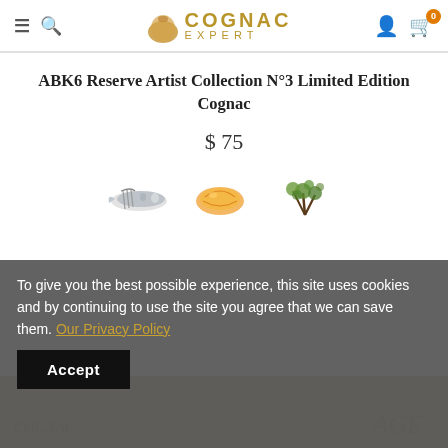Cognac Expert
ABK6 Reserve Artist Collection N°3 Limited Edition Cognac
$ 75
[Figure (illustration): Three food pairing icons: fish/seafood, orange citrus peel, and herbs/spices]
To give you the best possible experience, this site uses cookies and by continuing to use the site you agree that we can save them. Our Privacy Policy Accept